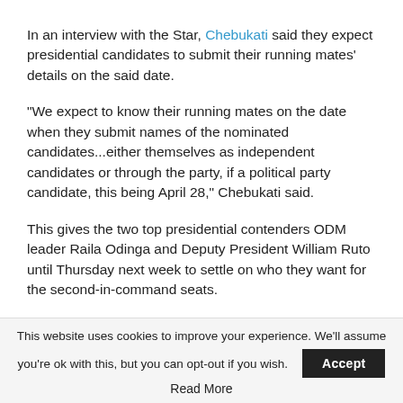In an interview with the Star, Chebukati said they expect presidential candidates to submit their running mates' details on the said date.
“We expect to know their running mates on the date when they submit names of the nominated candidates…either themselves as independent candidates or through the party, if a political party candidate, this being April 28,” Chebukati said.
This gives the two top presidential contenders ODM leader Raila Odinga and Deputy President William Ruto until Thursday next week to settle on who they want for the second-in-command seats.
The choice of a running mate is an uphill task both in the Azimio
This website uses cookies to improve your experience. We’ll assume you’re ok with this, but you can opt-out if you wish.
Read More